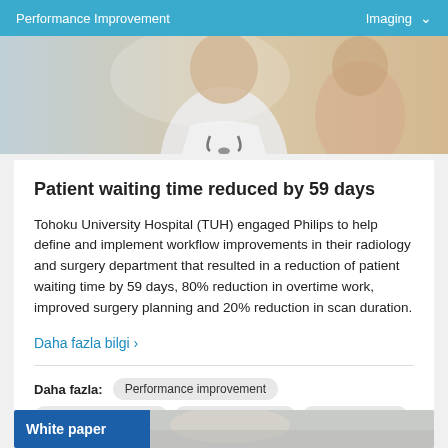Performance Improvement    Imaging
[Figure (photo): Hero image of doctor in white coat with stethoscope]
Patient waiting time reduced by 59 days
Tohoku University Hospital (TUH) engaged Philips to help define and implement workflow improvements in their radiology and surgery department that resulted in a reduction of patient waiting time by 59 days, 80% reduction in overtime work, improved surgery planning and 20% reduction in scan duration.
Daha fazla bilgi ›
Daha fazla: Performance improvement  Imaging optimization  Patient throughput  Customer story
White paper